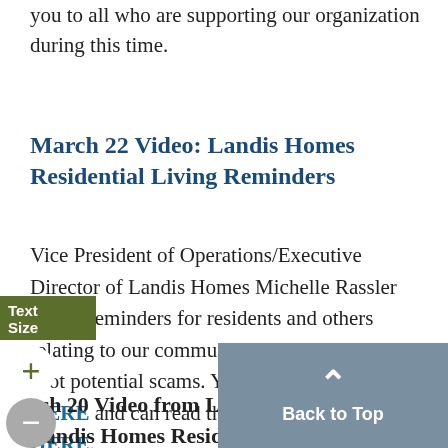you to all who are supporting our organization during this time.
March 22 Video: Landis Homes Residential Living Reminders
Vice President of Operations/Executive Director of Landis Homes Michelle Rassler shares reminders for residents and others relating to our community as well as how to spot potential scams. You can watch the video HERE and can read the report by clicking HERE.
March 20 Video from Landis Communities: Landis Homes Residential Living and Landis